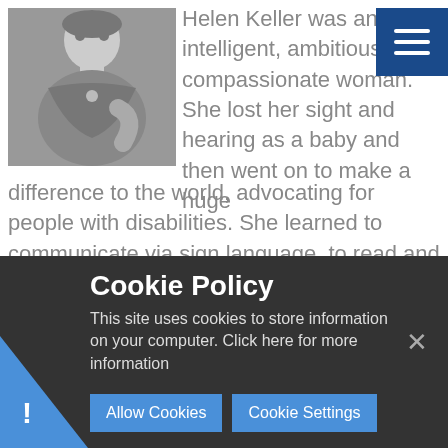[Figure (photo): Black and white photograph of Helen Keller, a woman wearing a dark dress with decorative neckline, posed in a classic portrait style]
Helen Keller was an intelligent, ambitious and compassionate woman. She lost her sight and hearing as a baby and then went on to make a huge difference to the world, advocating for people with disabilities. She learned to communicate via sign language, to read and write in Braille and eventually to speak. She become an
Cookie Policy
This site uses cookies to store information on your computer. Click here for more information
Allow Cookies
Cookie Settings